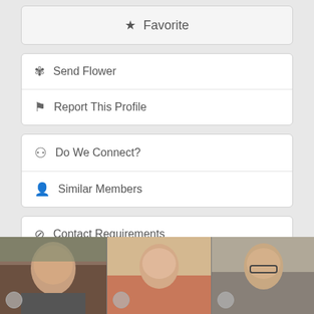★ Favorite
✿ Send Flower
⚑ Report This Profile
⚬ Do We Connect?
👤 Similar Members
⊘ Contact Requirements
[Figure (photo): A horizontal strip of six profile photos of men, with a right-arrow navigation button on the far right.]